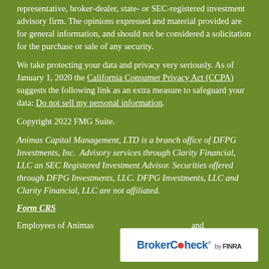representative, broker‑dealer, state‑ or SEC‑registered investment advisory firm. The opinions expressed and material provided are for general information, and should not be considered a solicitation for the purchase or sale of any security.
We take protecting your data and privacy very seriously. As of January 1, 2020 the California Consumer Privacy Act (CCPA) suggests the following link as an extra measure to safeguard your data: Do not sell my personal information.
Copyright 2022 FMG Suite.
Animas Capital Management, LTD is a branch office of DFPG Investments, Inc.  Advisory services through Clarity Financial, LLC an SEC Registered Investment Advisor. Securities offered through DFPG Investments, LLC. DFPG Investments, LLC and Clarity Financial, LLC are not affiliated.
Form CRS
Employees of Animas Capital Management, LTD and
[Figure (logo): BrokerCheck by FINRA logo — white rectangle with BrokerCheck in blue text and FINRA in dark text]